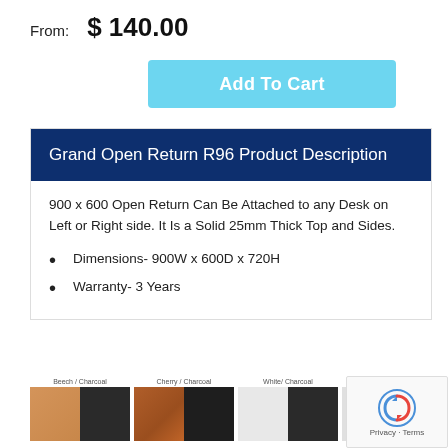From:  $ 140.00
Add To Cart
Grand Open Return R96 Product Description
900 x 600 Open Return Can Be Attached to any Desk on Left or Right side. It Is a Solid 25mm Thick Top and Sides.
Dimensions- 900W x 600D x 720H
Warranty- 3 Years
[Figure (other): Color swatches showing Beech/Charcoal, Cherry/Charcoal, White/Charcoal, and a partial fourth option]